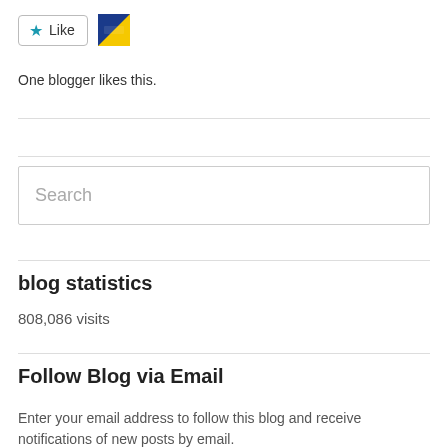[Figure (other): Like button with star icon and a blogger avatar thumbnail]
One blogger likes this.
Search
blog statistics
808,086 visits
Follow Blog via Email
Enter your email address to follow this blog and receive notifications of new posts by email.